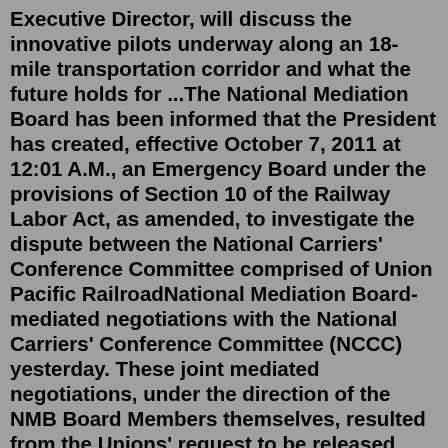Executive Director, will discuss the innovative pilots underway along an 18-mile transportation corridor and what the future holds for ...The National Mediation Board has been informed that the President has created, effective October 7, 2011 at 12:01 A.M., an Emergency Board under the provisions of Section 10 of the Railway Labor Act, as amended, to investigate the dispute between the National Carriers' Conference Committee comprised of Union Pacific RailroadNational Mediation Board-mediated negotiations with the National Carriers' Conference Committee (NCCC) yesterday. These joint mediated negotiations, under the direction of the NMB Board Members themselves, resulted from the Unions' request to be released from mediation after more than two years of bargaining with the The National Carriers' Conference Committee (NCCC) on April 22 proposed "to enter interim agreements with all rail labor organizations in national handling providing for advance payments of up to $600 per month, representing amounts that are expected to be